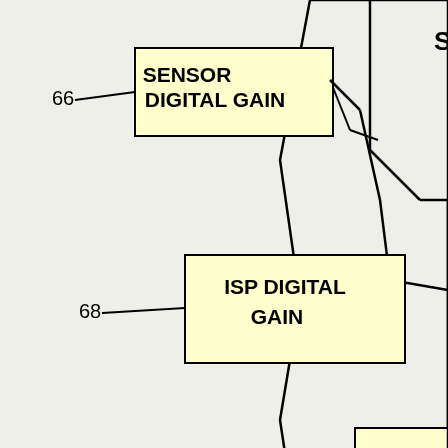[Figure (engineering-diagram): Patent diagram showing labeled blocks: SENSOR DIGITAL GAIN (66), ISP DIGITAL GAIN (68), COLOR TEMPERATURE (70, partially visible), connected by lines to a larger circuit/flowchart structure partially visible at right.]
[Figure (screenshot): Patently Apple watermark bar with dark gray background and white text]
[Figure (photo): Advertisement photo of a woman driving a red truck cab]
beacon building products
Delivery Driver Jobs in Ashburn
Apply Now
jobble.com
Q2
Ap
20: